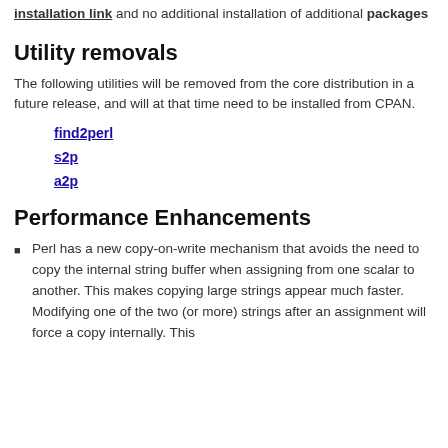... and no additional installation of additional packages
Utility removals
The following utilities will be removed from the core distribution in a future release, and will at that time need to be installed from CPAN.
find2perl
s2p
a2p
Performance Enhancements
Perl has a new copy-on-write mechanism that avoids the need to copy the internal string buffer when assigning from one scalar to another. This makes copying large strings appear much faster. Modifying one of the two (or more) strings after an assignment will force a copy internally. This